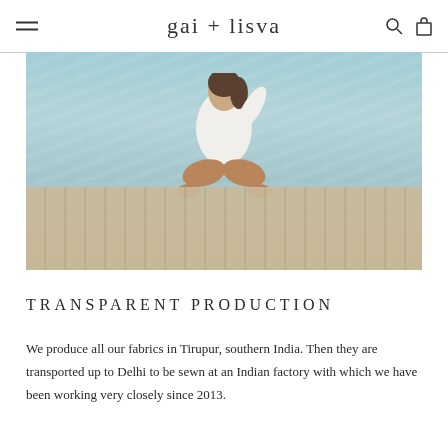gai + lisva
[Figure (photo): Woman in white shirt sitting cross-legged on a wooden dock with ocean water behind her]
TRANSPARENT PRODUCTION
We produce all our fabrics in Tirupur, southern India. Then they are transported up to Delhi to be sewn at an Indian factory with which we have been working very closely since 2013.